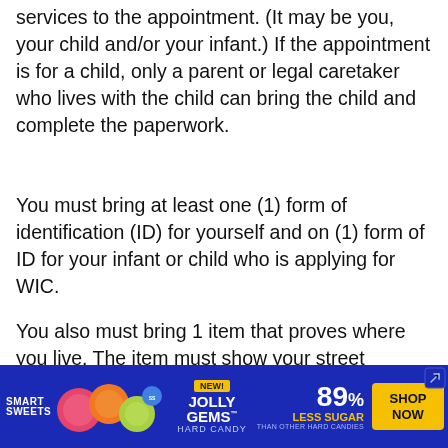services to the appointment. (It may be you, your child and/or your infant.) If the appointment is for a child, only a parent or legal caretaker who lives with the child can bring the child and complete the paperwork.
You must bring at least one (1) form of identification (ID) for yourself and on (1) form of ID for your infant or child who is applying for WIC.
You also must bring 1 item that proves where you live. The item must show your street address. (No P.O. Box numbers).
ust also bring in proof of all income for
[Figure (other): Advertisement banner for Smart Sweets Jolly Gems Hard Candy: 89% Less Sugar than other hard candies. Shop Now button.]